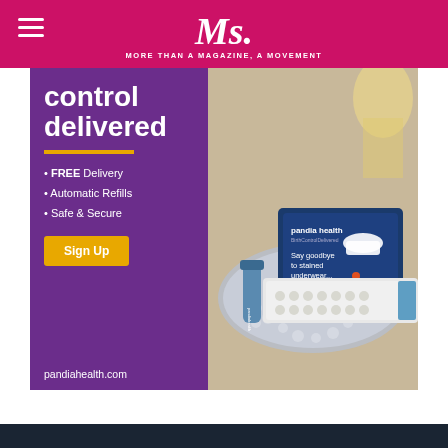Ms. — MORE THAN A MAGAZINE, A MOVEMENT
[Figure (photo): Pandia Health advertisement banner. Left side has purple background with white bold text 'control delivered', a yellow horizontal divider, bullet points: FREE Delivery, Automatic Refills, Safe & Secure, a yellow Sign Up button, and pandiahealth.com URL. Right side shows a photo of birth control pills, a medication bottle, and a Pandia Health branded card on a silver tray.]